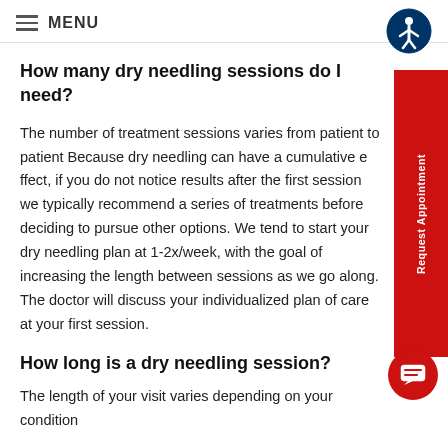≡ MENU
How many dry needling sessions do I need?
The number of treatment sessions varies from patient to patient Because dry needling can have a cumulative effect, if you do not notice results after the first session we typically recommend a series of treatments before deciding to pursue other options. We tend to start your dry needling plan at 1-2x/week, with the goal of increasing the length between sessions as we go along. The doctor will discuss your individualized plan of care at your first session.
How long is a dry needling session?
The length of your visit varies depending on your condition